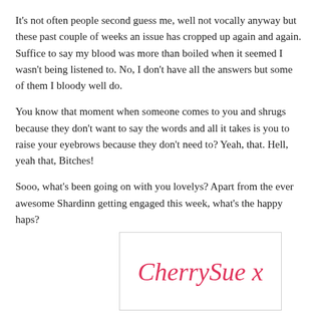It's not often people second guess me, well not vocally anyway but these past couple of weeks an issue has cropped up again and again. Suffice to say my blood was more than boiled when it seemed I wasn't being listened to. No, I don't have all the answers but some of them I bloody well do.
You know that moment when someone comes to you and shrugs because they don't want to say the words and all it takes is you to raise your eyebrows because they don't need to? Yeah, that. Hell, yeah that, Bitches!
Sooo, what's been going on with you lovelys? Apart from the ever awesome Shardinn getting engaged this week, what's the happy haps?
[Figure (illustration): Handwritten cursive signature reading 'CherrySue x' in pink/red ink inside a bordered white box]